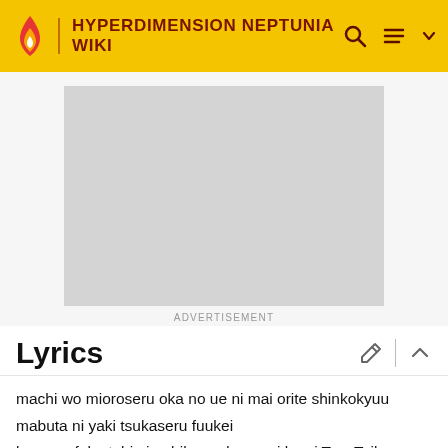HYPERDIMENSION NEPTUNIA WIKI
[Figure (other): Advertisement placeholder box (gray rectangle)]
ADVERTISEMENT
Lyrics
machi wo mioroseru oka no ue ni mai orite shinkokyuu
mabuta ni yaki tsukaseru fuukei
kaze ga fuku tabi ni nabiku anda nagai kami Two Tail
kurosu no kazari urara kirameite
gokan ni hibikaseru sekaijuu no haamonii